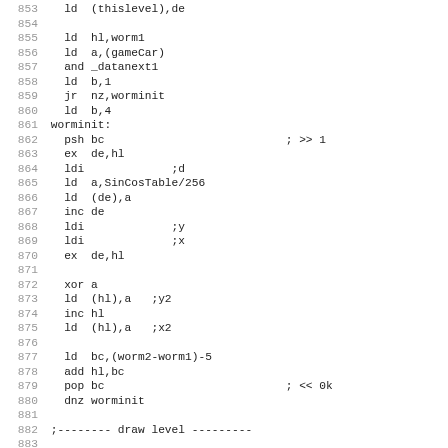Assembly code listing, lines 853-885
853   ld  (thislevel),de
854
855   ld  hl,worm1
856   ld  a,(gameCar)
857   and _datanext1
858   ld  b,1
859   jr  nz,worminit
860   ld  b,4
861 worminit:
862   psh bc                           ; >> 1
863   ex  de,hl
864   ldi             ;d
865   ld  a,SinCosTable/256
866   ld  (de),a
867   inc de
868   ldi             ;y
869   ldi             ;x
870   ex  de,hl
871
872   xor a
873   ld  (hl),a   ;y2
874   inc hl
875   ld  (hl),a   ;x2
876
877   ld  bc,(worm2-worm1)-5
878   add hl,bc
879   pop bc                           ; << 0k
880   dnz worminit
881
882 ;-------- draw level ---------
883
884   ld  a,(de)
885